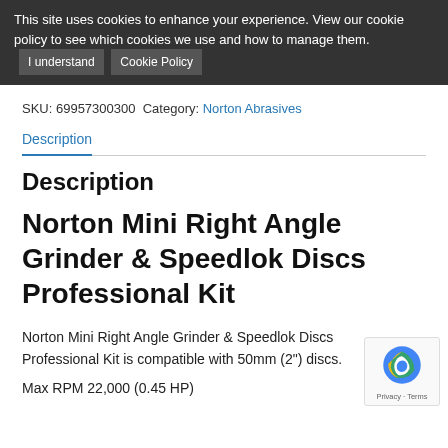This site uses cookies to enhance your experience. View our cookie policy to see which cookies we use and how to manage them. [I understand] [Cookie Policy]
SKU: 69957300300 Category: Norton Abrasives
Description
Description
Norton Mini Right Angle Grinder & Speedlok Discs Professional Kit
Norton Mini Right Angle Grinder & Speedlok Discs Professional Kit is compatible with 50mm (2") discs.
Max RPM 22,000 (0.45 HP)